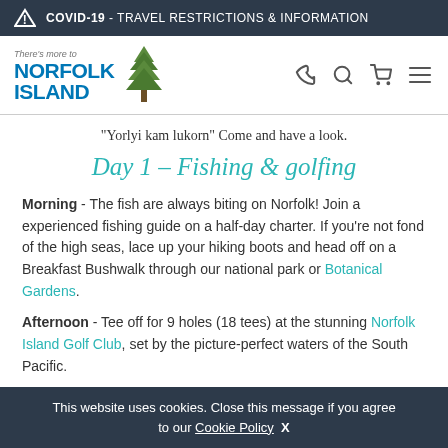⚠ COVID-19 - TRAVEL RESTRICTIONS & INFORMATION
[Figure (logo): There's more to Norfolk Island logo with pine tree icon]
"Yorlyi kam lukorn" Come and have a look.
Day 1 – Fishing & golfing
Morning - The fish are always biting on Norfolk! Join a experienced fishing guide on a half-day charter. If you're not fond of the high seas, lace up your hiking boots and head off on a Breakfast Bushwalk through our national park or Botanical Gardens.
Afternoon - Tee off for 9 holes (18 tees) at the stunning Norfolk Island Golf Club, set by the picture-perfect waters of the South Pacific.
This website uses cookies. Close this message if you agree to our Cookie Policy  X